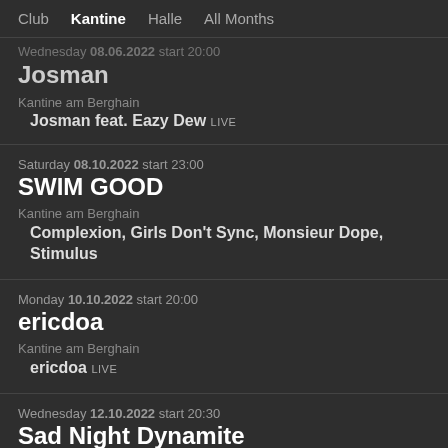Club  Kantine  Halle  All Months
Wednesday 08.06.2022 start 20:00
Josman
Kantine am Berghain
Josman feat. Eazy Dew LIVE
Saturday 08.10.2022 start 23:00
SWIM GOOD
Kantine am Berghain
Complexion, Girls Don't Sync, Monsieur Dope, Stimulus
Monday 10.10.2022 start 20:00
ericdoa
Kantine am Berghain
ericdoa LIVE
Wednesday 12.10.2022 start 20:30
Sad Night Dynamite